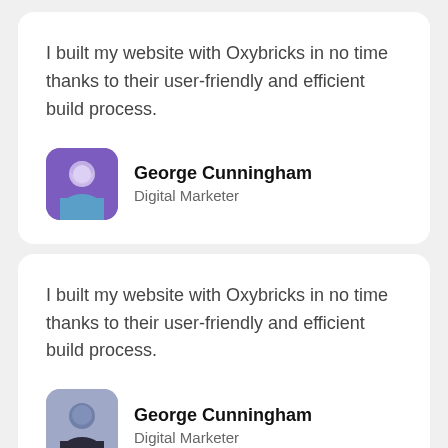I built my website with Oxybricks in no time thanks to their user-friendly and efficient build process.
George Cunningham
Digital Marketer
I built my website with Oxybricks in no time thanks to their user-friendly and efficient build process.
George Cunningham
Digital Marketer